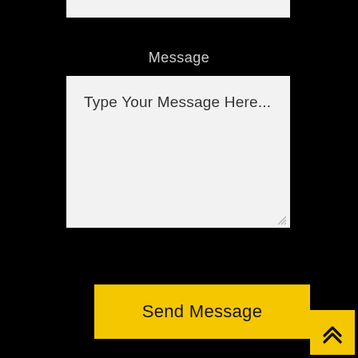Message
[Figure (screenshot): Text input area with placeholder text 'Type Your Message Here...' on a light gray background]
[Figure (screenshot): Yellow 'Send Message' button]
[Figure (screenshot): Yellow scroll-to-top button with double chevron arrow in bottom right corner]